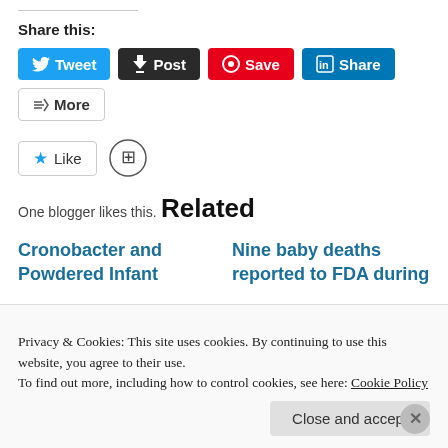Share this:
[Figure (screenshot): Social sharing buttons: Tweet, Post, Save, Share, More]
[Figure (screenshot): Like button with star icon and a circular blogger avatar icon]
One blogger likes this.
Related
Cronobacter and Powdered Infant
Nine baby deaths reported to FDA during
Privacy & Cookies: This site uses cookies. By continuing to use this website, you agree to their use.
To find out more, including how to control cookies, see here: Cookie Policy
Close and accept